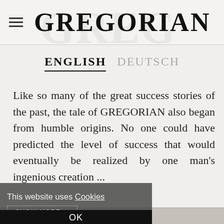GREGORIAN
ENGLISH   DEUTSCH
Like so many of the great success stories of the past, the tale of GREGORIAN also began from humble origins. No one could have predicted the level of success that would eventually be realized by one man's ingenious creation ...
This website uses Cookies
SHOW MORE
OK